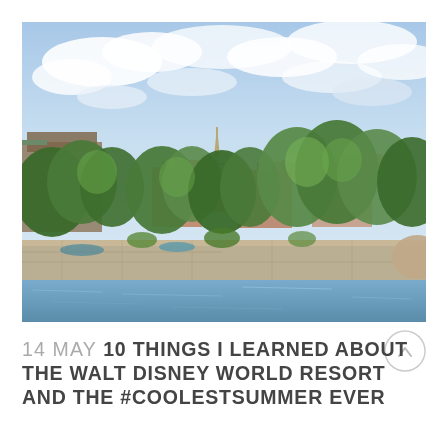[Figure (photo): Outdoor scene showing a park or theme park area resembling Paris, France. In the background stands a replica of the Eiffel Tower. The foreground shows green trees lining a stone seawall or retaining wall beside calm water. The sky is partly cloudy with blue sky visible. The setting appears to be the France pavilion at EPCOT, Walt Disney World.]
14 MAY 10 THINGS I LEARNED ABOUT THE WALT DISNEY WORLD RESORT AND THE #COOLESTSUMMER EVER